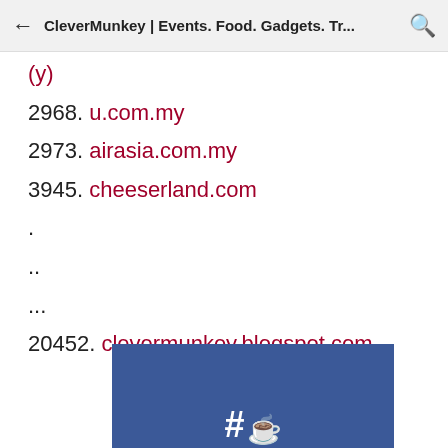CleverMunkey | Events. Food. Gadgets. Tr...
(partial link - cut off at top)
2968. u.com.my
2973. airasia.com.my
3945. cheeserland.com
.
..
...
20452. clevermunkey.blogspot.com
[Figure (screenshot): Partial blue Facebook-style banner with white hashtag icon visible at bottom of page]